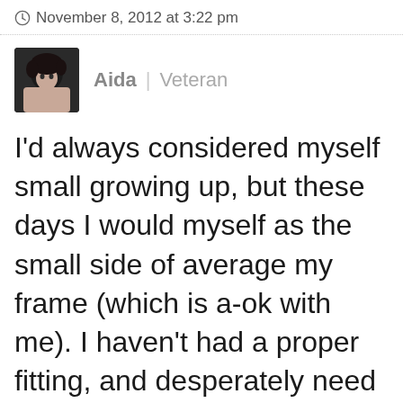November 8, 2012 at 3:22 pm
[Figure (photo): Avatar photo of user Aida showing a close-up of a face with dark hair]
Aida | Veteran
I'd always considered myself small growing up, but these days I would myself as the small side of average my frame (which is a-ok with me). I haven't had a proper fitting, and desperately need one since underg a year-long weight loss regiment R